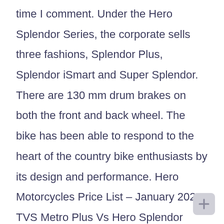time I comment. Under the Hero Splendor Series, the corporate sells three fashions, Splendor Plus, Splendor iSmart and Super Splendor. There are 130 mm drum brakes on both the front and back wheel. The bike has been able to respond to the heart of the country bike enthusiasts by its design and performance. Hero Motorcycles Price List – January 2021 TVS Metro Plus Vs Hero Splendor iSmart Compare Review. Trying to figure out which of these bikes or scooters to buy? 825. Gear speed. Hero Splendor iSmart Plus is a 110cc motorcycle, which has a vertical engine cylinder rather than the horizontal setup from previous hero motorcycles. Splendor is the successor of the Hero Honda CD100 and the Hero Honda Sleek, both inspired by the Honda CB250RS series of the 1980s. The engine in the